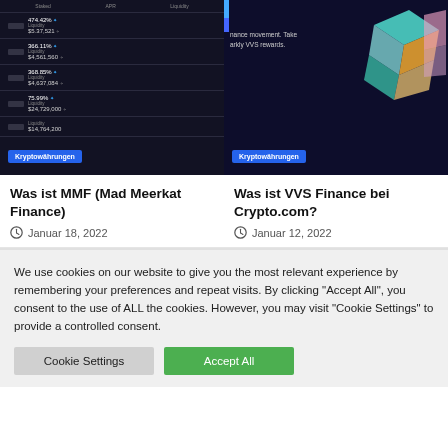[Figure (screenshot): Dark cryptocurrency dashboard interface showing rows with APR percentages and liquidity values like 474.42%, $5.37521; 366.11%, $4,561,560; $4,637,084; 75.99%, $24,729,000; $14,764,200]
Kryptowährungen
[Figure (screenshot): VVS Finance promotional banner with colorful 3D diamond/cube logo on dark blue background, text about finance movement and VVS rewards]
Kryptowährungen
Was ist MMF (Mad Meerkat Finance)
Januar 18, 2022
Was ist VVS Finance bei Crypto.com?
Januar 12, 2022
We use cookies on our website to give you the most relevant experience by remembering your preferences and repeat visits. By clicking "Accept All", you consent to the use of ALL the cookies. However, you may visit "Cookie Settings" to provide a controlled consent.